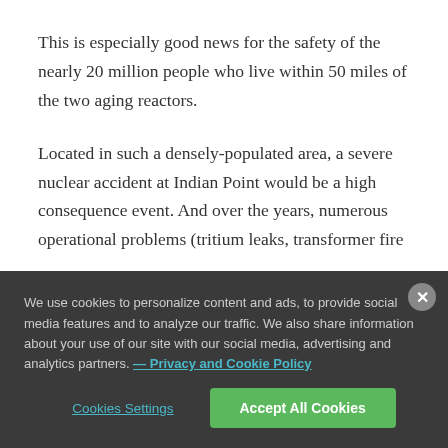This is especially good news for the safety of the nearly 20 million people who live within 50 miles of the two aging reactors.
Located in such a densely-populated area, a severe nuclear accident at Indian Point would be a high consequence event. And over the years, numerous operational problems (tritium leaks, transformer fire
We use cookies to personalize content and ads, to provide social media features and to analyze our traffic. We also share information about your use of our site with our social media, advertising and analytics partners. — Privacy and Cookie Policy
Cookies Settings
Accept All Cookies